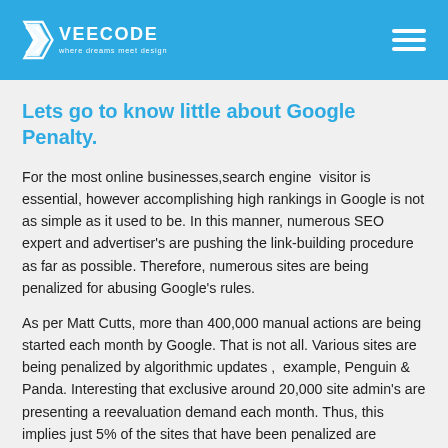VEECODE — where dreams meet design
Lets go to know little about Google Penalty.
For the most online businesses,search engine  visitor is essential, however accomplishing high rankings in Google is not as simple as it used to be. In this manner, numerous SEO expert and advertiser's are pushing the link-building procedure as far as possible. Therefore, numerous sites are being penalized for abusing Google's rules.
As per Matt Cutts, more than 400,000 manual actions are being started each month by Google. That is not all. Various sites are being penalized by algorithmic updates ,  example, Penguin & Panda. Interesting that exclusive around 20,000 site admin's are presenting a reevaluation demand each month. Thus, this implies just 5% of the sites that have been penalized are attempting to recover their rankings.